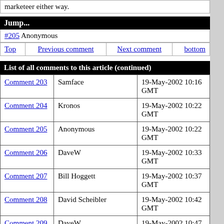marketeer either way.
Jump...
#205 Anonymous
| Top | Previous comment | Next comment | bottom |
| --- | --- | --- | --- |
List of all comments to this article (continued)
| Comment | Author | Date |
| --- | --- | --- |
| Comment 203 | Samface | 19-May-2002 10:16 GMT |
| Comment 204 | Kronos | 19-May-2002 10:22 GMT |
| Comment 205 | Anonymous | 19-May-2002 10:22 GMT |
| Comment 206 | DaveW | 19-May-2002 10:33 GMT |
| Comment 207 | Bill Hoggett | 19-May-2002 10:37 GMT |
| Comment 208 | David Scheibler | 19-May-2002 10:42 GMT |
| Comment 209 | DaveW | 19-May-2002 10:47 GMT |
| Comment 210 | Samface | 19-May-2002 10:47 GMT |